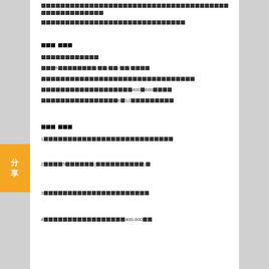[CJK text line 1]
[CJK text line 2]
[CJK section header 1]
[CJK text paragraph with 5 items and 400-600 range and 6-12 items]
[CJK section header 2]
1 [CJK list item 1]
2 [CJK] 5 [CJK] ([CJK])
3 [CJK list item 3]
4 [CJK list item 4] 400-600 [CJK]